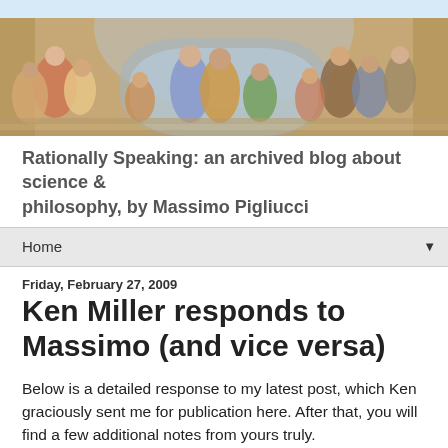[Figure (photo): Banner header image showing Raphael's 'School of Athens' painting with classical philosophers gathered in an arched hall]
Rationally Speaking: an archived blog about science & philosophy, by Massimo Pigliucci
Home ▼
Friday, February 27, 2009
Ken Miller responds to Massimo (and vice versa)
Below is a detailed response to my latest post, which Ken graciously sent me for publication here. After that, you will find a few additional notes from yours truly.
Dear Massimo,